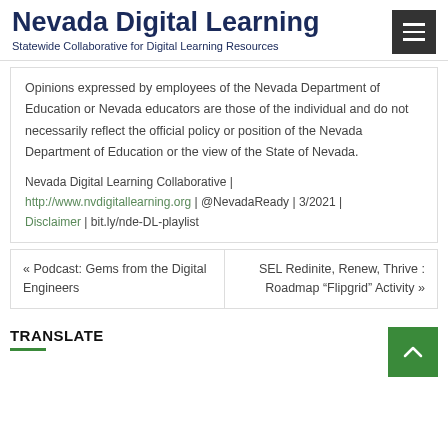Nevada Digital Learning
Statewide Collaborative for Digital Learning Resources
Opinions expressed by employees of the Nevada Department of Education or Nevada educators are those of the individual and do not necessarily reflect the official policy or position of the Nevada Department of Education or the view of the State of Nevada.
Nevada Digital Learning Collaborative | http://www.nvdigitallearning.org | @NevadaReady | 3/2021 | Disclaimer | bit.ly/nde-DL-playlist
« Podcast: Gems from the Digital Engineers
SEL Redinite, Renew, Thrive : Roadmap “Flipgrid” Activity »
TRANSLATE